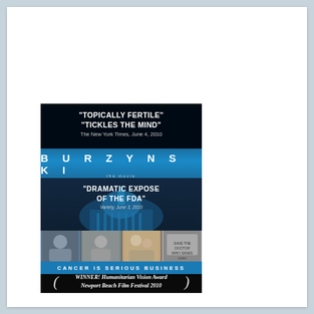[Figure (illustration): Movie poster for 'Burzynski the Movie' on a white card background with blue-gray page background. The poster has a black background with blue tones, featuring reviews 'Topically Fertile' 'Tickles the Mind' - The New York Times, June 4, 2010 at top, the BURZYNSKI title in blue band with spaced letters, 'the movie' subtitle, a Capitol building silhouette in blue, 'Dramatic Expose of the FDA' - Variety, June 3, 2010 quote, a photo strip of people, a blue banner reading 'CANCER IS SERIOUS BUSINESS', and at the bottom 'WINNER! Humanitarian Vision Award Newport Beach Film Festival 2010' with laurel wreath decorations.]